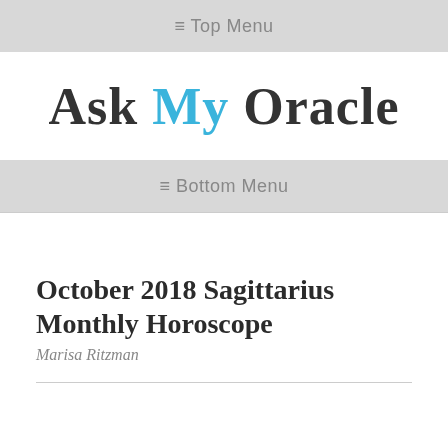≡ Top Menu
Ask My Oracle
≡ Bottom Menu
October 2018 Sagittarius Monthly Horoscope
Marisa Ritzman